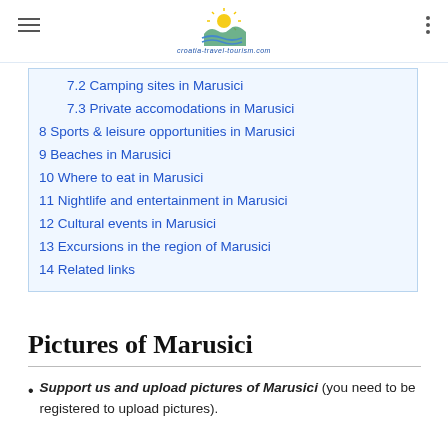[Figure (logo): Croatia-Travel-Tourism website logo with sun and waves graphic and text 'croatia-travel-tourism.com']
7.2 Camping sites in Marusici
7.3 Private accomodations in Marusici
8 Sports & leisure opportunities in Marusici
9 Beaches in Marusici
10 Where to eat in Marusici
11 Nightlife and entertainment in Marusici
12 Cultural events in Marusici
13 Excursions in the region of Marusici
14 Related links
Pictures of Marusici
Support us and upload pictures of Marusici (you need to be registered to upload pictures).